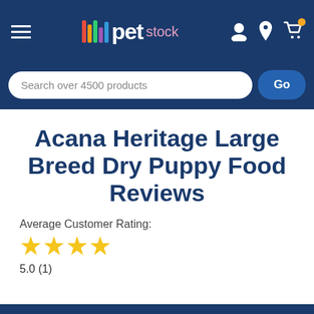[Figure (logo): PetStock website header with hamburger menu, PetStock logo, user icon, location pin, and shopping cart with orange badge]
[Figure (screenshot): Search bar with text 'Search over 4500 products' and a blue 'Go' button]
Acana Heritage Large Breed Dry Puppy Food Reviews
Average Customer Rating:
[Figure (other): 4 filled gold stars rating display]
5.0 (1)